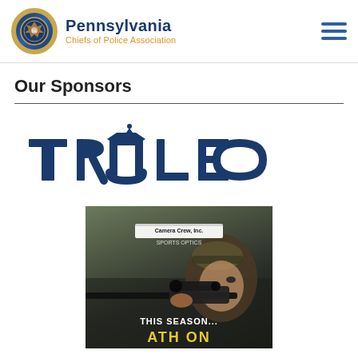Pennsylvania Chiefs of Police Association
Our Sponsors
[Figure (logo): TruLeo company logo in navy blue, large stylized text spelling TRUCLEO with a badge-shaped U]
[Figure (photo): Sponsor advertisement showing a person aiming a scoped rifle, wearing camouflage hat, with Camera Crew Inc. / Sports Optics badge at top and text 'THIS SEASON... ATH ON' at bottom in white and yellow]